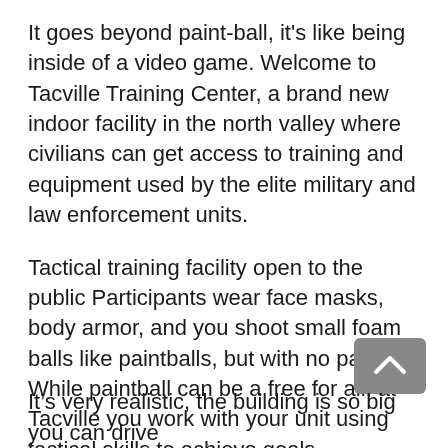It goes beyond paint-ball, it's like being inside of a video game. Welcome to Tacville Training Center, a brand new indoor facility in the north valley where civilians can get access to training and equipment used by the elite military and law enforcement units.
Tactical training facility open to the public Participants wear face masks, body armor, and you shoot small foam balls like paintballs, but with no paint. While paintball can be a free for all, at Tacville you work with your unit using tactical skills to achieve goals.
“They are given a specific mission whether it’s a pilot down, or assaulting an embassy,” said Mike Puente with Tacville.
It’s very realistic, the building is so big you can drive